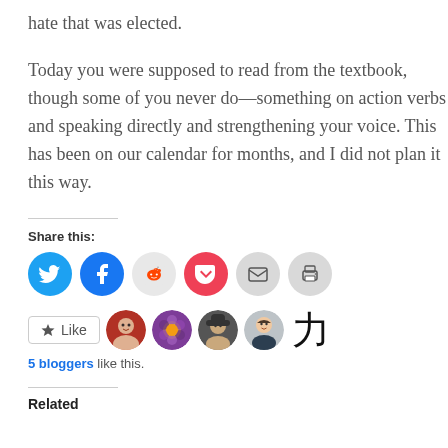hate that was elected.
Today you were supposed to read from the textbook, though some of you never do—something on action verbs and speaking directly and strengthening your voice. This has been on our calendar for months, and I did not plan it this way.
Share this:
[Figure (infographic): Row of social share icon buttons: Twitter (blue circle), Facebook (blue circle), Reddit (light grey circle), Pocket (red circle), Email (grey circle), Print (grey circle)]
[Figure (infographic): Like button with star icon, followed by four circular avatar photos and a kanji character icon representing blog followers]
5 bloggers like this.
Related